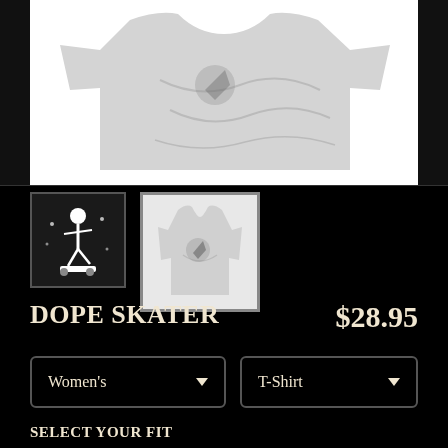[Figure (photo): Main product photo of a light grey women's t-shirt laid flat on white background, partially folded, showing the shirt from above]
[Figure (photo): Thumbnail 1: Small square image of skater graphic design on dark/black background]
[Figure (photo): Thumbnail 2: Small square image of the grey t-shirt with skater graphic on white background]
DOPE SKATER
$28.95
Women's
T-Shirt
SELECT YOUR FIT
$22.45
Fitted
$22.45
Regular Unisex